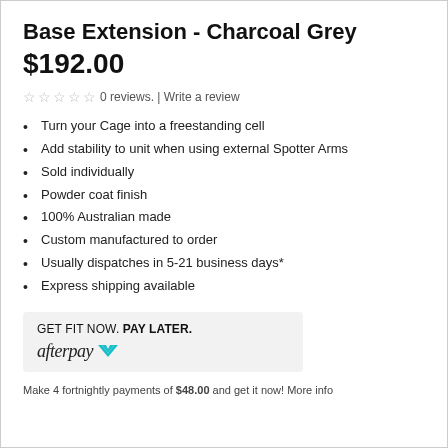Base Extension - Charcoal Grey
$192.00
☆ ☆ ☆ ☆ ☆ 0 reviews. | Write a review
Turn your Cage into a freestanding cell
Add stability to unit when using external Spotter Arms
Sold individually
Powder coat finish
100% Australian made
Custom manufactured to order
Usually dispatches in 5-21 business days*
Express shipping available
[Figure (logo): Afterpay logo with promotional text: GET FIT NOW. PAY LATER.]
Make 4 fortnightly payments of $48.00 and get it now! More info